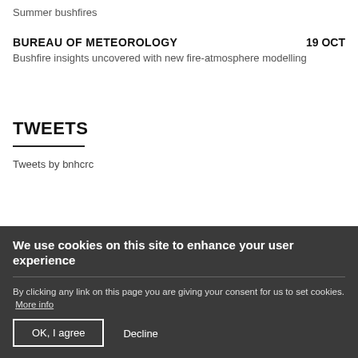Summer bushfires
BUREAU OF METEOROLOGY
19 OCT
Bushfire insights uncovered with new fire-atmosphere modelling
TWEETS
Tweets by bnhcrc
LANDGATE FIREWATCH
We use cookies on this site to enhance your user experience
By clicking any link on this page you are giving your consent for us to set cookies.  More info
OK, I agree
Decline